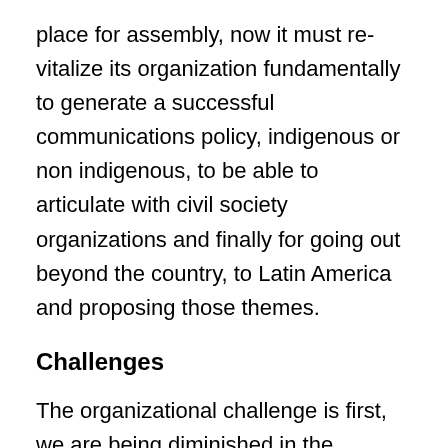place for assembly, now it must re-vitalize its organization fundamentally to generate a successful communications policy, indigenous or non indigenous, to be able to articulate with civil society organizations and finally for going out beyond the country, to Latin America and proposing those themes.
Challenges
The organizational challenge is first, we are being diminished in the organization that we have had; a national organizational structure must be formed to be able to articulate with all the peoples and communities of civil society. One must not fall into the temptation to accumulate votes, to compete with other parties, to not fall into the temptation of the vote, of the power, of wanting to win. One must generate the idea and awareness; that is